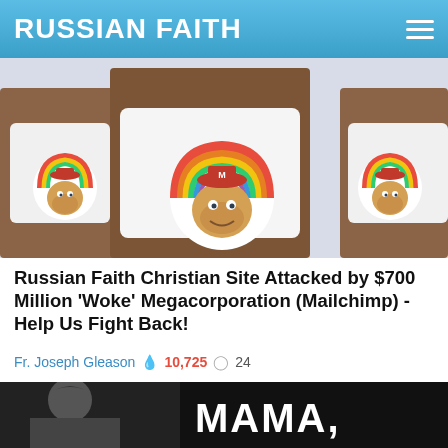RUSSIAN FAITH
[Figure (photo): Three people wearing white t-shirts featuring a rainbow-colored Mailchimp monkey logo]
Russian Faith Christian Site Attacked by $700 Million 'Woke' Megacorporation (Mailchimp) - Help Us Fight Back!
Fr. Joseph Gleason  10,725  24
[Figure (photo): Black and white photo with person and large text reading MAMA,]